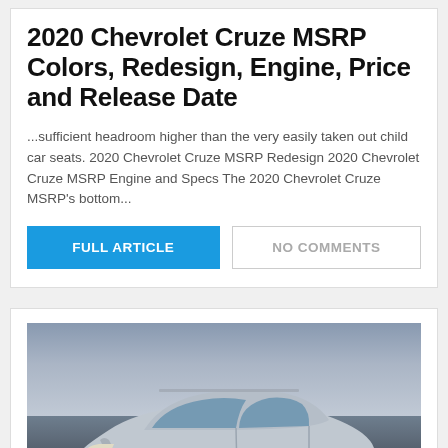2020 Chevrolet Cruze MSRP Colors, Redesign, Engine, Price and Release Date
...sufficient headroom higher than the very easily taken out child car seats. 2020 Chevrolet Cruze MSRP Redesign 2020 Chevrolet Cruze MSRP Engine and Specs The 2020 Chevrolet Cruze MSRP's bottom...
FULL ARTICLE | NO COMMENTS
[Figure (photo): A silver Chevrolet SUV (Blazer) photographed outdoors near a waterfront with cloudy sky in the background.]